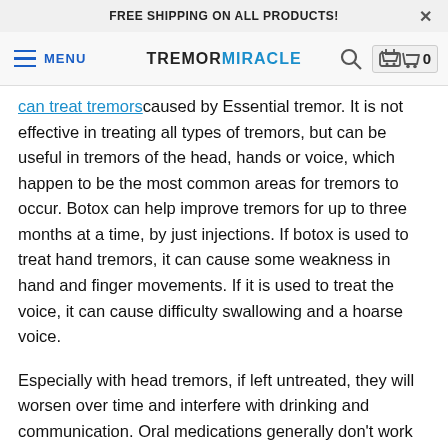FREE SHIPPING ON ALL PRODUCTS!
MENU  TREMORMIRACLE
can treat tremors caused by Essential tremor. It is not effective in treating all types of tremors, but can be useful in tremors of the head, hands or voice, which happen to be the most common areas for tremors to occur. Botox can help improve tremors for up to three months at a time, by just injections. If botox is used to treat hand tremors, it can cause some weakness in hand and finger movements. If it is used to treat the voice, it can cause difficulty swallowing and a hoarse voice.
Especially with head tremors, if left untreated, they will worsen over time and interfere with drinking and communication. Oral medications generally don't work well